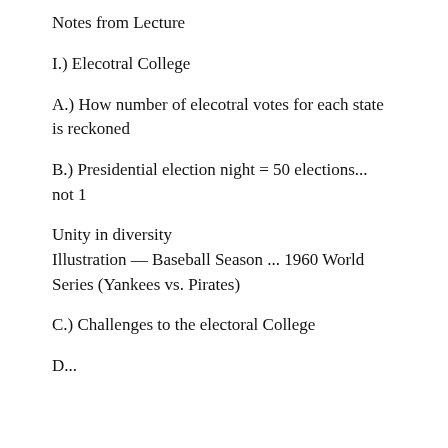Notes from Lecture
I.) Elecotral College
A.) How number of elecotral votes for each state is reckoned
B.) Presidential election night = 50 elections... not 1
Unity in diversity
Illustration — Baseball Season ... 1960 World Series (Yankees vs. Pirates)
C.) Challenges to the electoral College
D...